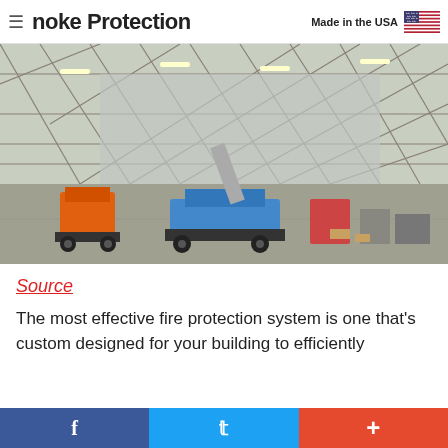noke Protection — Made in the USA
[Figure (photo): Large industrial hangar interior with high steel truss roof structure. A blue boom lift and an orange scissor lift are visible on the concrete floor. The space appears to be under construction or renovation with workers and equipment visible in the background.]
Source
The most effective fire protection system is one that's custom designed for your building to efficiently